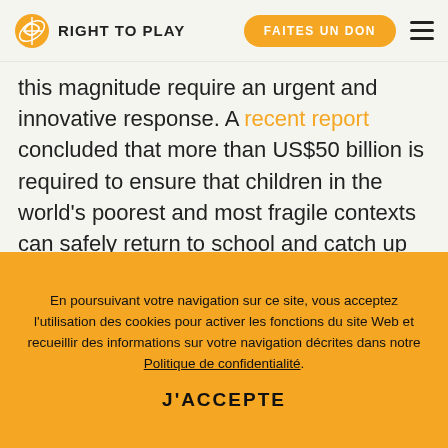RIGHT TO PLAY | FAITES UN DON
this magnitude require an urgent and innovative response. A recent report concluded that more than US$50 billion is required to ensure that children in the world's poorest and most fragile contexts can safely return to school and catch up on lost learning. We know that Canada cannot shoulder the entire global COVID recovery effort alone. However, Canada is viewed as a leader in
En poursuivant votre navigation sur ce site, vous acceptez l'utilisation des cookies pour activer les fonctions du site Web et recueillir des informations sur votre navigation décrites dans notre Politique de confidentialité.
J'ACCEPTE